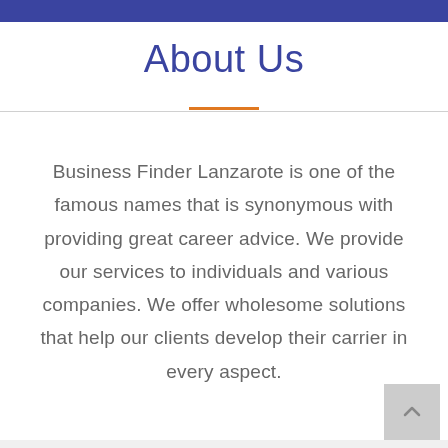About Us
Business Finder Lanzarote is one of the famous names that is synonymous with providing great career advice. We provide our services to individuals and various companies. We offer wholesome solutions that help our clients develop their carrier in every aspect.